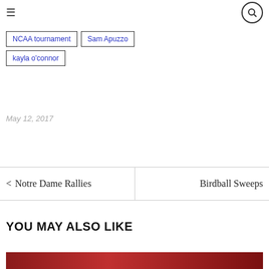≡ [search]
NCAA tournament
Sam Apuzzo
kayla o'connor
May 12, 2017
< Notre Dame Rallies
Birdball Sweeps
YOU MAY ALSO LIKE
[Figure (photo): Partial photo strip visible at bottom of page, appears to be a sports-related image with red/flag tones]